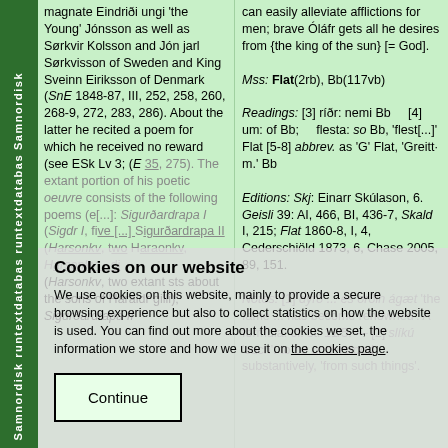magnate Eindriði ungi 'the Young' Jónsson as well as Sørkvir Kolsson and Jón jarl Sørkvisson of Sweden and King Sveinn Eiriksson of Denmark (SnE 1848-87, III, 252, 258, 260, 268-9, 272, 283, 286). About the latter he recited a poem for which he received no reward (see ESk Lv 3; (E 35, 275). The extant portion of his poetic oeuvre consists of the following poems (e[...]: Sigurðardrapa I (Sigdr I, five [...] Sigurðardrapa II (Harsonkv, two extant sts about the sons of Haraldr gilli); Sigurðardrapa II
can easily alleviate afflictions for men; brave Óláfr gets all he desires from {the king of the sun} [= God].
Mss: Flat(2rb), Bb(117vb)
Readings: [3] ríðr: nemi Bb    [4] um: of Bb;    flesta: so Bb, 'flest[...]' Flat [5-8] abbrev. as 'G' Flat, 'Greitt· m.' Bb
Editions: Skj: Einarr Skúlason, 6. Geisli 39: AI, 466, BI, 436-7, Skald I, 215; Flat 1860-8, I, 4, Cederschiöld 1873, 6, Chase 2005, 89, 151.
Notes: [1] dýrð ... es orðin ágæt 'the fame ... has become renowned': A formula: cf. st. 11/5. — [2] slíkú 'such': to be understood substantively, 'from such things'.
Cookies on our website
We use cookies on this website, mainly to provide a secure browsing experience but also to collect statistics on how the website is used. You can find out more about the cookies we set, the information we store and how we use it on the cookies page.
Continue